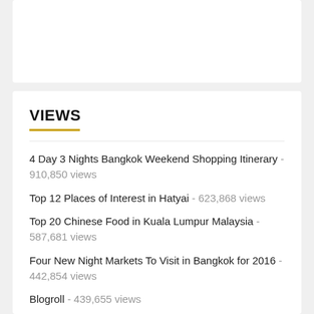[Figure (other): White card placeholder area at the top]
VIEWS
4 Day 3 Nights Bangkok Weekend Shopping Itinerary - 910,850 views
Top 12 Places of Interest in Hatyai - 623,868 views
Top 20 Chinese Food in Kuala Lumpur Malaysia - 587,681 views
Four New Night Markets To Visit in Bangkok for 2016 - 442,854 views
Blogroll - 439,655 views
IOI City Mall Putrajaya - 273,779 views